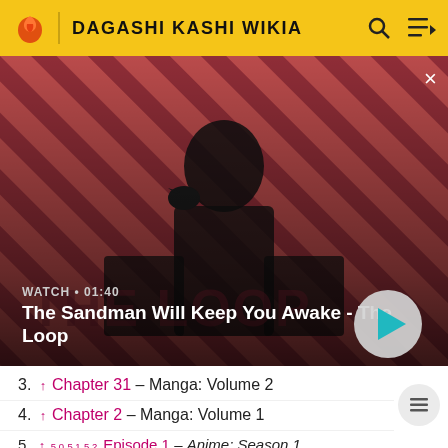DAGASHI KASHI WIKIA
[Figure (screenshot): Video thumbnail showing a man in dark clothing with a raven on his shoulder against a red diagonal-stripe background. Text overlay: WATCH • 01:40, The Sandman Will Keep You Awake - The Loop. Play button on the right.]
3. ↑ Chapter 31 – Manga: Volume 2
4. ↑ Chapter 2 – Manga: Volume 1
5. ↑ 5.0 5.1 5.2 Episode 1 – Anime: Season 1
6. ↑ Chapter 3 – Manga: Volume 1
7. ↑ Chapter 4 – Manga: Volume 1